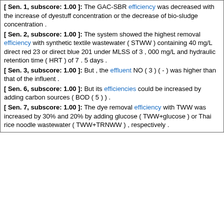[ Sen. 1, subscore: 1.00 ]: The GAC-SBR efficiency was decreased with the increase of dyestuff concentration or the decrease of bio-sludge concentration .
[ Sen. 2, subscore: 1.00 ]: The system showed the highest removal efficiency with synthetic textile wastewater ( STWW ) containing 40 mg/L direct red 23 or direct blue 201 under MLSS of 3 , 000 mg/L and hydraulic retention time ( HRT ) of 7 . 5 days .
[ Sen. 3, subscore: 1.00 ]: But , the effluent NO ( 3 ) ( - ) was higher than that of the influent .
[ Sen. 6, subscore: 1.00 ]: But its efficiencies could be increased by adding carbon sources ( BOD ( 5 ) ) .
[ Sen. 7, subscore: 1.00 ]: The dye removal efficiency with TWW was increased by 30% and 20% by adding glucose ( TWW+glucose ) or Thai rice noodle wastewater ( TWW+TRNWW ) , respectively .
Score: 9.00
Title: Pollution level in distillery effluent and its phytotoxic effect on seed germination and early growth of maize and rice .
Journal: J Environ Biol
Literature: oryza Field: abstract Doc ID: pub18831388 Accession (PMID): 18831388
Abstract: The effluent from a Lucknow based distillery ( Mohan Meakin Distillery ) was analyzed for physico-chemical and biological parameters of pollution and concentration of potentially toxic heavy metals ( Cd , Cr , Ni and Zn ) and the effect of the distillery effluent , as such and on 50% dilution with tap water was studied on seed germination and seedling growth of maize ( Zea mays L ) and rice ( Oryza sativa L ) . The effluent was wine red in colour and highly acidic ( pH approximately 55 ) and possessed decaying alcoholic smell . The effluent contained high values